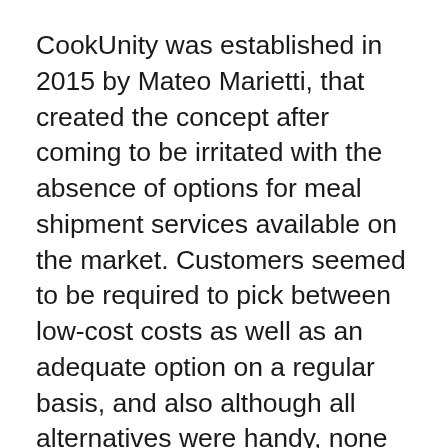CookUnity was established in 2015 by Mateo Marietti, that created the concept after coming to be irritated with the absence of options for meal shipment services available on the market. Customers seemed to be required to pick between low-cost costs as well as an adequate option on a regular basis, and also although all alternatives were handy, none stood out as particularly notable.
CookUnity provides restaurant-quality dishes in a basic, subscription-based design that is easy to use. High-end delicacies are offered at a small cost thanks to the service, which connects specialist cooks with day-to-day consumers. CookUnity promotes itself as being a chef-driven facility, serving tailored